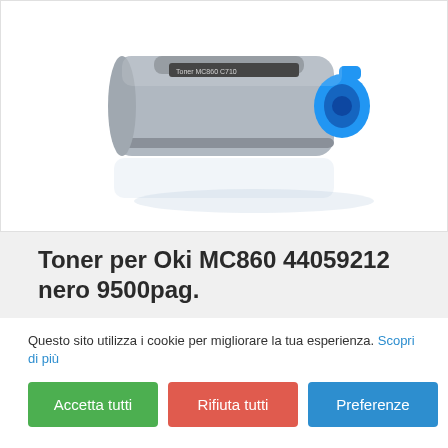[Figure (photo): A gray toner cartridge for Oki MC860 printer with a blue cap/handle on the right side, photographed on a white background with a slight reflection below.]
Toner per Oki MC860 44059212 nero 9500pag.
Questo sito utilizza i cookie per migliorare la tua esperienza. Scopri di più
Accetta tutti
Rifiuta tutti
Preferenze